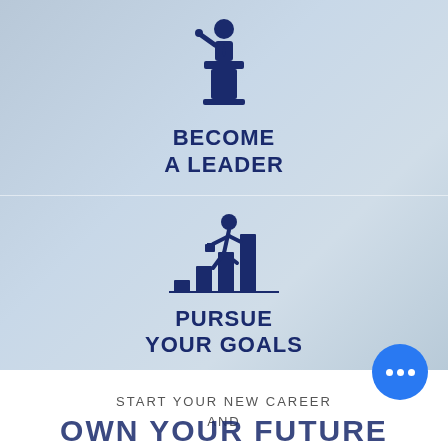[Figure (infographic): Top half infographic panel with blue-grey photo background. Top section shows icon of person at podium with text BECOME A LEADER. Bottom section shows icon of person running up bar chart steps with text PURSUE YOUR GOALS. A horizontal divider separates the two sections.]
BECOME A LEADER
PURSUE YOUR GOALS
START YOUR NEW CAREER AND
OWN YOUR FUTURE